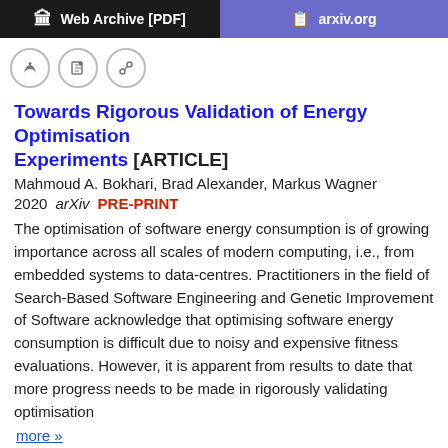[Figure (screenshot): Top navigation bar with Web Archive [PDF] button (black) and arxiv.org button (purple)]
[Figure (screenshot): Action icon buttons: quote, edit, link]
Towards Rigorous Validation of Energy Optimisation Experiments [ARTICLE]
Mahmoud A. Bokhari, Brad Alexander, Markus Wagner
2020 arXiv  PRE-PRINT
The optimisation of software energy consumption is of growing importance across all scales of modern computing, i.e., from embedded systems to data-centres. Practitioners in the field of Search-Based Software Engineering and Genetic Improvement of Software acknowledge that optimising software energy consumption is difficult due to noisy and expensive fitness evaluations. However, it is apparent from results to date that more progress needs to be made in rigorously validating optimisation
more »
arXiv:2004.04500v1  fatcat:tvl45njtyzab7hijd4zmxtzir4
[Figure (screenshot): Bottom navigation bar with Web Archive [PDF] button (black) and arxiv.org button (purple)]
[Figure (screenshot): Bottom action icon buttons: quote, edit, link]